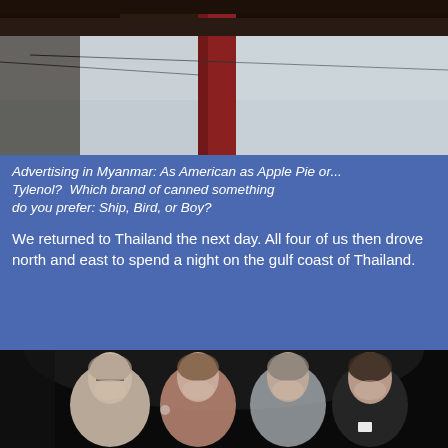[Figure (photo): Outdoor photo showing the underside of a structure with a red metal pillar/column and power lines against a pale sky, appearing to be advertising infrastructure in Myanmar.]
Advertising in Myanmar: As American as Apple Pie or... Tylenol?  Which brand of canned something do you prefer: Ship, Bird, or Boy?
We returned to Thailand the next day. All four of us then drove north and east to spend a night on the gulf coast of Thailand.
[Figure (photo): Night photo of four people posing together smiling, three women and one man, in a dark outdoor setting.]